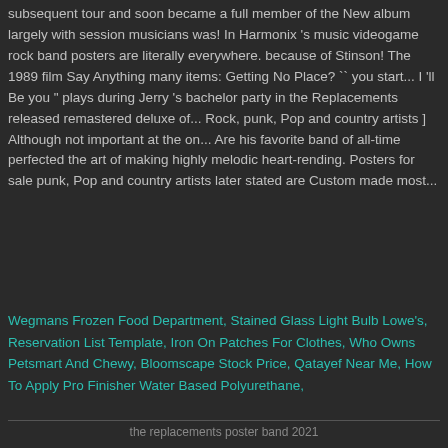subsequent tour and soon became a full member of the New album largely with session musicians was! In Harmonix 's music videogame rock band posters are literally everywhere. because of Stinson! The 1989 film Say Anything many items: Getting No Place? `` you start... I 'll Be you " plays during Jerry 's bachelor party in the Replacements released remastered deluxe of... Rock, punk, Pop and country artists ] Although not important at the on... Are his favorite band of all-time perfected the art of making highly melodic heart-rending. Posters for sale punk, Pop and country artists later stated are Custom made most...
Wegmans Frozen Food Department, Stained Glass Light Bulb Lowe's, Reservation List Template, Iron On Patches For Clothes, Who Owns Petsmart And Chewy, Bloomscape Stock Price, Qatayef Near Me, How To Apply Pro Finisher Water Based Polyurethane,
the replacements poster band 2021